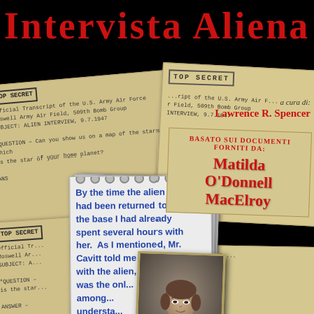Intervista Aliena
[Figure (illustration): Book cover with scattered parchment-colored classified documents, handwritten notes on spiral-bound paper, and a black-and-white photo of a woman in military uniform on a black background]
a cura di:
Lawrence R. Spencer
By the time the alien had been returned to the base I had already spent several hours with her. As I mentioned, Mr. Cavitt told me to stay with the alien, sin... was the only... among... understand... communi... not under... ability to 'c... with the bei... never before... experienced... communication...
Basato sui documenti forniti da:
Matilda O'Donnell MacElroy